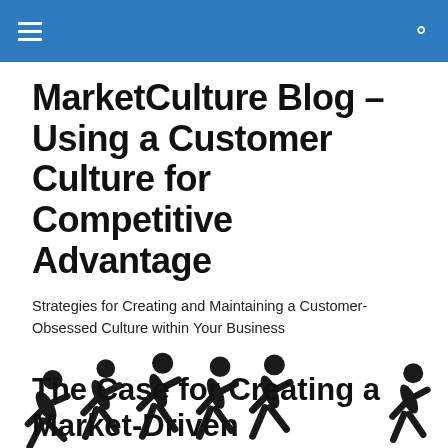MarketCulture Blog – Using a Customer Culture for Competitive Advantage
Strategies for Creating and Maintaining a Customer-Obsessed Culture within Your Business
[Figure (illustration): Silhouette figures of people running in a line, one figure separated to the far right]
The Case for Creating a Market-Driven Organization